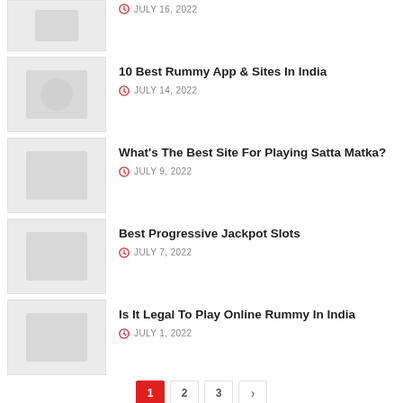[Figure (photo): Thumbnail image placeholder (top, partially visible)]
JULY 16, 2022
[Figure (photo): Thumbnail image placeholder for Rummy App article]
10 Best Rummy App & Sites In India
JULY 14, 2022
[Figure (photo): Thumbnail image placeholder for Satta Matka article]
What's The Best Site For Playing Satta Matka?
JULY 9, 2022
[Figure (photo): Thumbnail image placeholder for Progressive Jackpot Slots article]
Best Progressive Jackpot Slots
JULY 7, 2022
[Figure (photo): Thumbnail image placeholder for Online Rummy article]
Is It Legal To Play Online Rummy In India
JULY 1, 2022
1 2 3 >